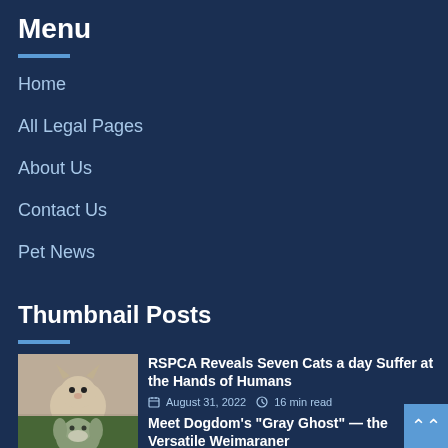Menu
Home
All Legal Pages
About Us
Contact Us
Pet News
Thumbnail Posts
[Figure (photo): Photo of a gray kitten being held by a person]
RSPCA Reveals Seven Cats a day Suffer at the Hands of Humans
August 31, 2022  16 min read
[Figure (photo): Photo of a gray Weimaraner dog outdoors with mouth open]
Meet Dogdom’s “Gray Ghost” — the Versatile Weimaraner